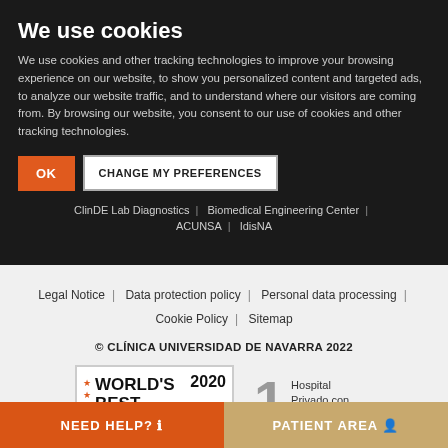We use cookies
We use cookies and other tracking technologies to improve your browsing experience on our website, to show you personalized content and targeted ads, to analyze our website traffic, and to understand where our visitors are coming from. By browsing our website, you consent to our use of cookies and other tracking technologies.
OK | CHANGE MY PREFERENCES
Clínica Universidad de Navarra | ClinDE Lab Diagnostics | Biomedical Engineering Center | ACUNSA | IdisNA
Legal Notice | Data protection policy | Personal data processing | Cookie Policy | Sitemap
© CLÍNICA UNIVERSIDAD DE NAVARRA 2022
[Figure (logo): World's Best Hospitals 2020 Newsweek badge]
[Figure (infographic): Number 1 Hospital Privado con mejor reputación]
NEED HELP? ℹ
PATIENT AREA 👤